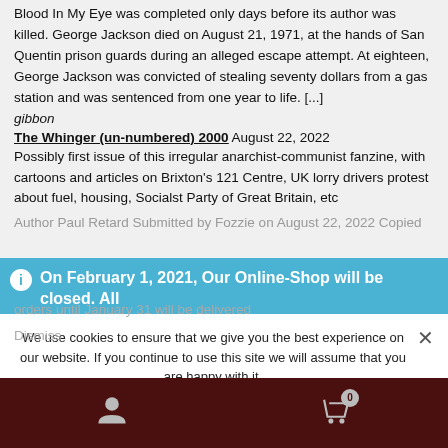Blood In My Eye was completed only days before its author was killed. George Jackson died on August 21, 1971, at the hands of San Quentin prison guards during an alleged escape attempt. At eighteen, George Jackson was convicted of stealing seventy dollars from a gas station and was sentenced from one year to life. [...]
gibbon
The Whinger (un-numbered) 2000 August 22, 2022
Possibly first issue of this irregular anarchist-communist fanzine, with cartoons and articles on Brixton's 121 Centre, UK lorry drivers protest about fuel, housing, Socialst Party of Great Britain, etc
Author Paul Retard Submitted by Fozzie on August 22, 2022 Copied
On February 1, 2021, Our Online-Shop will be closed. All orders until January 31 will be delivered
Dismiss
We use cookies to ensure that we give you the best experience on our website. If you continue to use this site we will assume that you are happy with it.
Ok